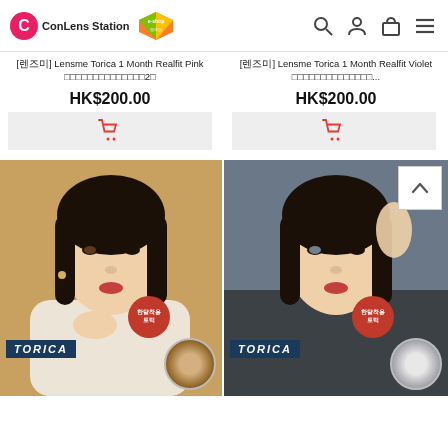ConLens Station
[렌즈미] Lensme Torica 1 Month Realfit Pink □□□□□□□□□□□□□□2□
HK$200.00
[렌즈미] Lensme Torica 1 Month Realfit Violet □□□□□□□□□□□□□□...
HK$200.00
[Figure (photo): TORICA contact lens product image - left, model wearing pink lens, golden background]
[Figure (photo): TORICA contact lens product image - right, model wearing violet/grey lens, dark background]